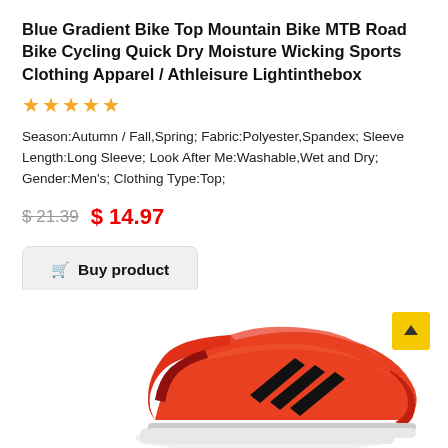Blue Gradient Bike Top Mountain Bike MTB Road Bike Cycling Quick Dry Moisture Wicking Sports Clothing Apparel / Athleisure Lightinthebox
★★★★★
Season:Autumn / Fall,Spring; Fabric:Polyester,Spandex; Sleeve Length:Long Sleeve; Look After Me:Washable,Wet and Dry; Gender:Men's; Clothing Type:Top;
$ 21.39  $ 14.97
🛒 Buy product
[Figure (photo): Orange/red Adidas running shoe with black three-stripe logo on the side, white sole, partially visible from the center-right of the frame]